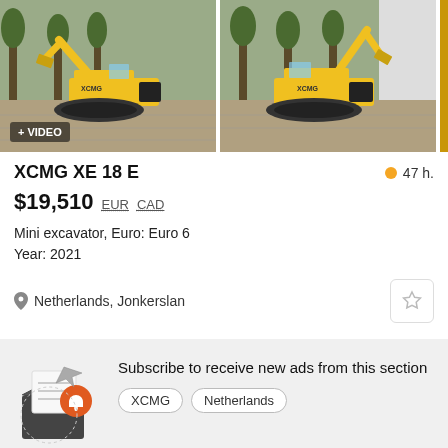[Figure (photo): Two photos of a yellow XCMG XE 18 E mini excavator on paving stones with trees in the background. The first photo has a '+ VIDEO' badge overlay. A gold vertical bar appears on the right edge.]
XCMG XE 18 E
47 h.
$19,510  EUR  CAD
Mini excavator, Euro: Euro 6
Year: 2021
Netherlands, Jonkerslan
Subscribe to receive new ads from this section
XCMG  Netherlands